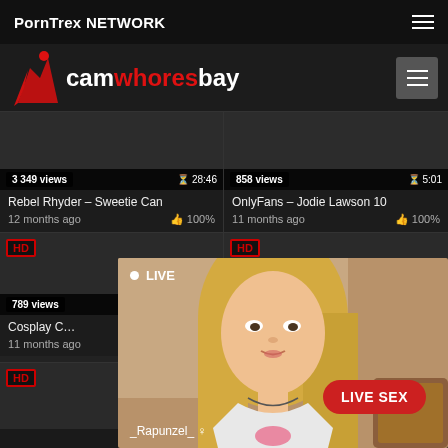PornTrex NETWORK
[Figure (logo): camwhoresbay logo with red female silhouette icon]
[Figure (screenshot): Video thumbnail - 3 349 views, 28:46 duration, Rebel Rhyder - Sweetie Can, 12 months ago, 100% likes]
[Figure (screenshot): Video thumbnail - 858 views, 5:01 duration, OnlyFans - Jodie Lawson 10, 11 months ago, 100% likes]
[Figure (screenshot): HD video thumbnail - 789 views, Cosplay C..., 11 months ago]
[Figure (screenshot): HD video thumbnail (lower left)]
[Figure (photo): Live popup overlay showing blonde woman with LIVE indicator, _Rapunzel_ username, and LIVE SEX button]